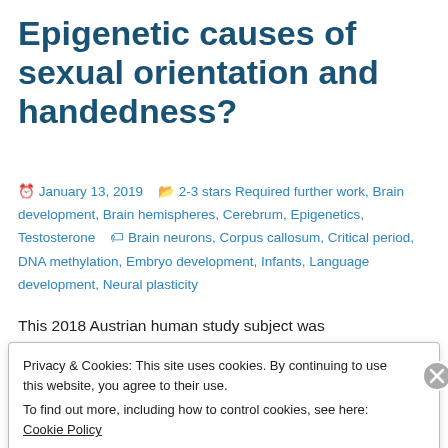Epigenetic causes of sexual orientation and handedness?
January 13, 2019   2-3 stars Required further work, Brain development, Brain hemispheres, Cerebrum, Epigenetics, Testosterone   Brain neurons, Corpus callosum, Critical period, DNA methylation, Embryo development, Infants, Language development, Neural plasticity
This 2018 Austrian human study subject was
Privacy & Cookies: This site uses cookies. By continuing to use this website, you agree to their use.
To find out more, including how to control cookies, see here: Cookie Policy

Close and accept